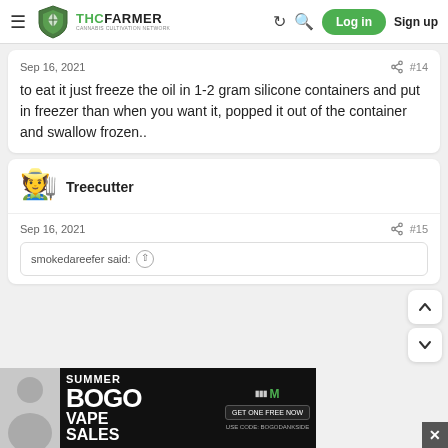THCFarmer Cannabis Cultivation Network — Log in / Sign up
Sep 16, 2021  #14
to eat it just freeze the oil in 1-2 gram silicone containers and put in freezer than when you want it, popped it out of the container and swallow frozen..
Treecutter
Sep 16, 2021  #15
smokedareefer said:
[Figure (screenshot): BOGO Summer Vape Sales advertisement banner with person photo]